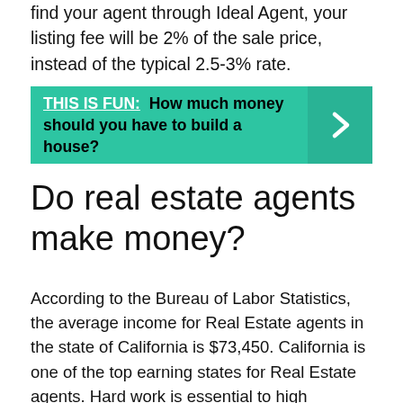find your agent through Ideal Agent, your listing fee will be 2% of the sale price, instead of the typical 2.5-3% rate.
[Figure (infographic): Teal banner with text: THIS IS FUN: How much money should you have to build a house? with a right-arrow chevron on the right side.]
Do real estate agents make money?
According to the Bureau of Labor Statistics, the average income for Real Estate agents in the state of California is $73,450. California is one of the top earning states for Real Estate agents. Hard work is essential to high salaries, however.